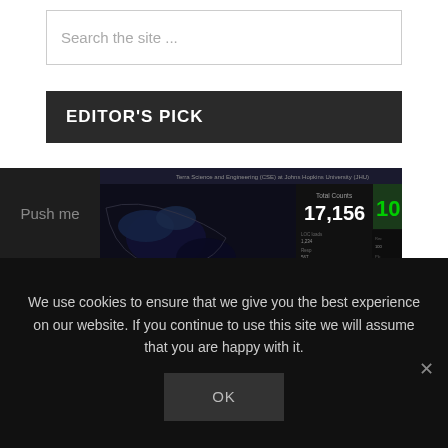Search the site ...
EDITOR'S PICK
[Figure (screenshot): Dark-themed data dashboard screenshot showing a map with the number 17,156 prominently displayed, labeled 'Total Counts', along with the number 10 in green. The map appears to show geographic data for a US region with dark background and colored data overlays. Header reads: 'Terra Science and Engineering (CSE) at Johns Hopkins University (JHU)']
Push me
We use cookies to ensure that we give you the best experience on our website. If you continue to use this site we will assume that you are happy with it.
OK